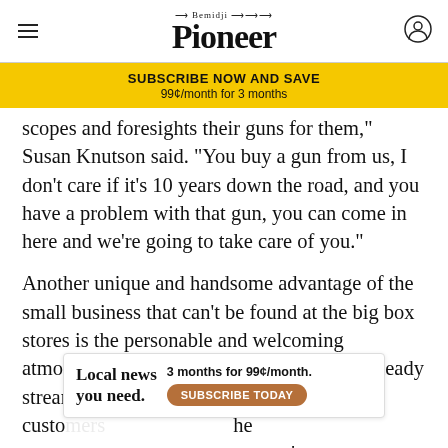Bemidji Pioneer
[Figure (infographic): Yellow subscribe banner reading SUBSCRIBE NOW AND SAVE / 99¢/month for 3 months]
scopes and foresights their guns for them," Susan Knutson said. "You buy a gun from us, I don't care if it's 10 years down the road, and you have a problem with that gun, you can come in here and we're going to take care of you."
Another unique and handsome advantage of the small business that can't be found at the big box stores is the personable and welcoming atmosphere. Andrus Outdoors maintains a steady stream of complementary coffee to warm customers... most ...acy's
[Figure (infographic): Advertisement overlay: Local news you need. 3 months for 99¢/month. SUBSCRIBE TODAY button]